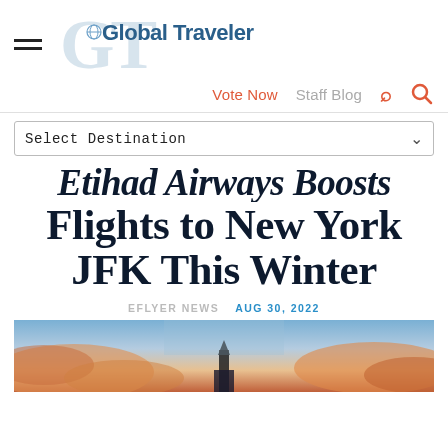Global Traveler
Vote Now   Staff Blog
Select Destination
Etihad Airways Boosts Flights to New York JFK This Winter
EFLYER NEWS   AUG 30, 2022
[Figure (photo): Aerial or cityscape photo, bottom portion visible, sunset/dusk sky with warm orange and blue tones, architectural structure visible at bottom center]